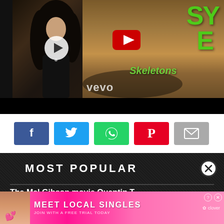[Figure (screenshot): Video player showing two overlapping video thumbnails: left shows a woman with dark curly hair with a white play button overlay; right shows a sandy scene with green text 'SY E' and 'Skeletons' with a red YouTube play button, and 'vevo' logo in bottom left. The player background is black.]
[Figure (screenshot): Row of five social share buttons: Facebook (blue, f icon), Twitter (light blue, bird icon), WhatsApp (green, phone icon), Pinterest (red, P icon), Email (gray, envelope icon)]
[Figure (screenshot): Dark textured section with white bold text 'MOST POPULAR' and partial headline 'The Mel Gibson movie Quentin T...' with an X close button circle on the right side, and an advertisement banner at the bottom showing a woman with text 'MEET LOCAL SINGLES JOIN WITH A FREE TRIAL TODAY' with clover logo and close/info buttons.]